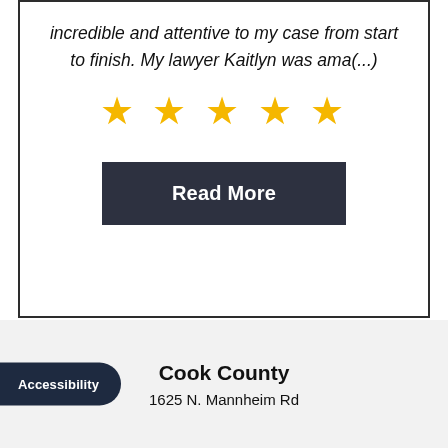incredible and attentive to my case from start to finish. My lawyer Kaitlyn was ama(...)
[Figure (other): Five gold star rating icons displayed in a row]
Read More
Accessibility
Cook County
1625 N. Mannheim Rd